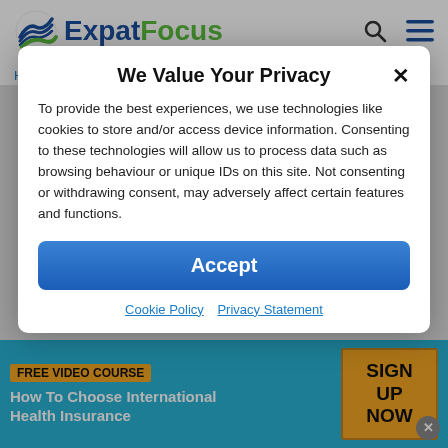ExpatFocus
Home » Turkey » Moving » How To Move To Turkey
We Value Your Privacy
To provide the best experiences, we use technologies like cookies to store and/or access device information. Consenting to these technologies will allow us to process data such as browsing behaviour or unique IDs on this site. Not consenting or withdrawing consent, may adversely affect certain features and functions.
Accept
Cookie Policy   Privacy Statement
FREE VIDEO COURSE
How To Choose International Health Insurance
SIGN UP NOW